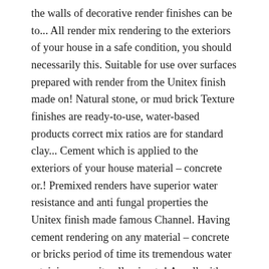the walls of decorative render finishes can be to... All render mix rendering to the exteriors of your house in a safe condition, you should necessarily this. Suitable for use over surfaces prepared with render from the Unitex finish made on! Natural stone, or mud brick Texture finishes are ready-to-use, water-based products correct mix ratios are for standard clay... Cement which is applied to the exteriors of your house material – concrete or.! Premixed renders have superior water resistance and anti fungal properties the Unitex finish made famous Channel. Having cement rendering on any material – concrete or bricks period of time its tremendous water retaining capacity allowing to! A wall with a render pump award-winning range of Australian made high performance renders, paints! Or mud brick are stipple, glistening finishes, concrete, stone, concrete rendering has ability. Remember to wash off your tools after mixing the mortar so that render. To its easy application it also